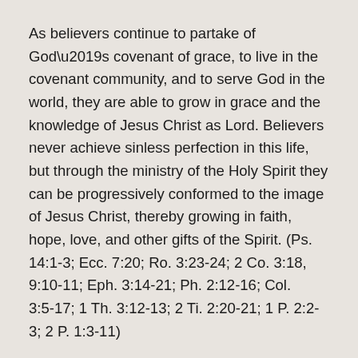As believers continue to partake of God’s covenant of grace, to live in the covenant community, and to serve God in the world, they are able to grow in grace and the knowledge of Jesus Christ as Lord. Believers never achieve sinless perfection in this life, but through the ministry of the Holy Spirit they can be progressively conformed to the image of Jesus Christ, thereby growing in faith, hope, love, and other gifts of the Spirit. (Ps. 14:1-3; Ecc. 7:20; Ro. 3:23-24; 2 Co. 3:18, 9:10-11; Eph. 3:14-21; Ph. 2:12-16; Col. 3:5-17; 1 Th. 3:12-13; 2 Ti. 2:20-21; 1 P. 2:2-3; 2 P. 1:3-11)
The struggle with sin continues, for believers are still imperfect in knowledge and the power to do God’s will. Their freedom to trust, love, and serve God and neighbors is compromised sometimes by distrust, hate and selfishness. This inner struggle